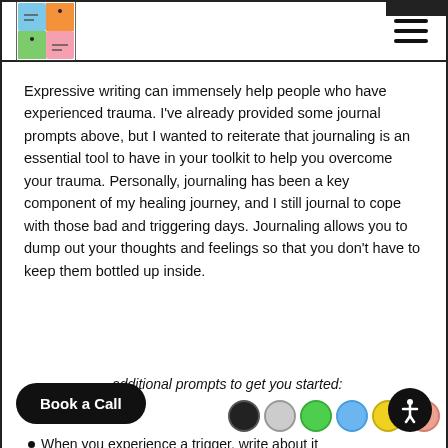Header with logo and navigation menu
Expressive writing can immensely help people who have experienced trauma. I've already provided some journal prompts above, but I wanted to reiterate that journaling is an essential tool to have in your toolkit to help you overcome your trauma. Personally, journaling has been a key component of my healing journey, and I still journal to cope with those bad and triggering days. Journaling allows you to dump out your thoughts and feelings so that you don't have to keep them bottled up inside.
additional prompts to get you started:
When you experience a trigger, write about it